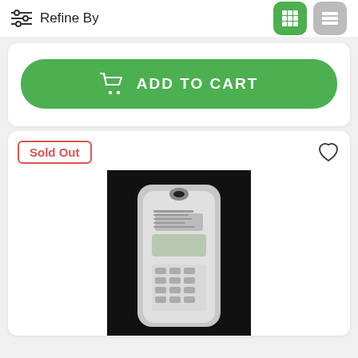Refine By
ADD TO CART
Sold Out
[Figure (photo): Product photo of a digital programmable timer/remote control device in retail blister packaging, shown against a black background.]